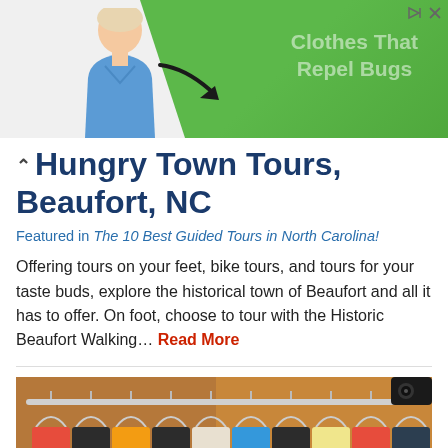[Figure (photo): Advertisement banner with green background showing a woman in blue top and text 'Clothes That Repel Bugs']
Hungry Town Tours, Beaufort, NC
Featured in The 10 Best Guided Tours in North Carolina!
Offering tours on your feet, bike tours, and tours for your taste buds, explore the historical town of Beaufort and all it has to offer. On foot, choose to tour with the Historic Beaufort Walking… Read More
[Figure (photo): Clothing rack with various garments on hangers in a shop]